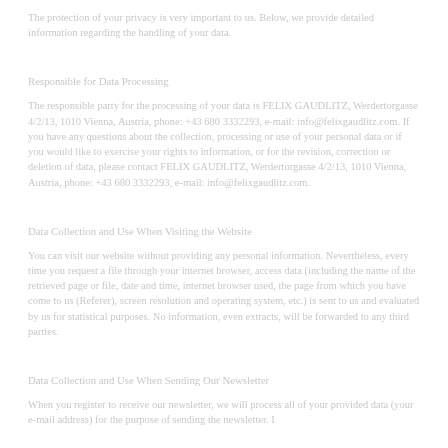The protection of your privacy is very important to us. Below, we provide detailed information regarding the handling of your data.
Responsible for Data Processing
The responsible party for the processing of your data is FELIX GAUDLITZ, Werdertorgasse 4/2/13, 1010 Vienna, Austria, phone: +43 680 3332293, e-mail: info@felixgaudlitz.com. If you have any questions about the collection, processing or use of your personal data or if you would like to exercise your rights to information, or for the revision, correction or deletion of data, please contact FELIX GAUDLITZ, Werdertorgasse 4/2/13, 1010 Vienna, Austria, phone: +43 680 3332293, e-mail: info@felixgaudlitz.com.
Data Collection and Use When Visiting the Website
You can visit our website without providing any personal information. Nevertheless, every time you request a file through your internet browser, access data (including the name of the retrieved page or file, date and time, internet browser used, the page from which you have come to us (Referer), screen resolution and operating system, etc.) is sent to us and evaluated by us for statistical purposes. No information, even extracts, will be forwarded to any third parties.
Data Collection and Use When Sending Our Newsletter
When you register to receive our newsletter, we will process all of your provided data (your e-mail address) for the purpose of sending the newsletter. I